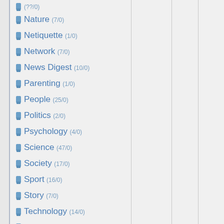Nature (7/0)
Netiquette (1/0)
Network (7/0)
News Digest (10/0)
Parenting (1/0)
People (25/0)
Politics (2/0)
Psychology (4/0)
Science (47/0)
Society (17/0)
Sport (16/0)
Story (7/0)
Technology (14/0)
The Workplace (9/0)
Trade (14/0)
Tradition (1/0)
Transportation (4/0)
Travel (30/0)